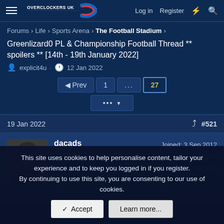Overclockers UK — Log in | Register
Forums > Life > Sports Arena > The Football Stadium >
Greenlizard0 PL & Championship Football Thread ** spoilers ** [14th - 19th January 2022]
explicit4u · 12 Jan 2022
Prev 1 ... 27
19 Jan 2022  #521
dacads
Soldato
Joined: 3 Sep 2012
Posts: 11,175
Location: Valhalla
This site uses cookies to help personalise content, tailor your experience and to keep you logged in if you register.
By continuing to use this site, you are consenting to our use of cookies.